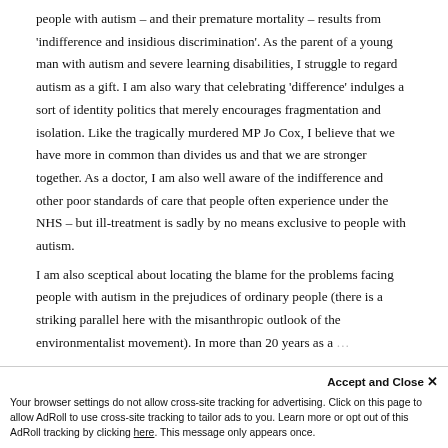people with autism – and their premature mortality – results from 'indifference and insidious discrimination'. As the parent of a young man with autism and severe learning disabilities, I struggle to regard autism as a gift. I am also wary that celebrating 'difference' indulges a sort of identity politics that merely encourages fragmentation and isolation. Like the tragically murdered MP Jo Cox, I believe that we have more in common than divides us and that we are stronger together. As a doctor, I am also well aware of the indifference and other poor standards of care that people often experience under the NHS – but ill-treatment is sadly by no means exclusive to people with autism.
I am also sceptical about locating the blame for the problems facing people with autism in the prejudices of ordinary people (there is a striking parallel here with the misanthropic outlook of the environmentalist movement). In more than 20 years as a
Your browser settings do not allow cross-site tracking for advertising. Click on this page to allow AdRoll to use cross-site tracking to tailor ads to you. Learn more or opt out of this AdRoll tracking by clicking here. This message only appears once.